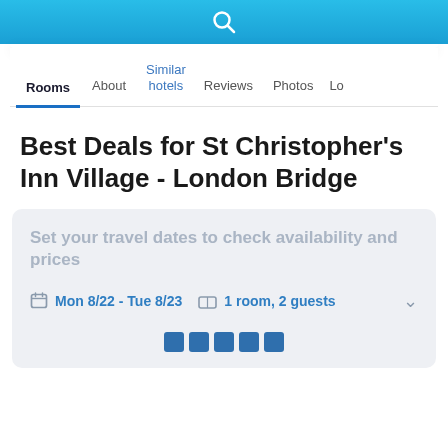[Figure (screenshot): Blue search bar at top with white magnifying glass icon]
Rooms | About | Similar hotels | Reviews | Photos | Lo...
Best Deals for St Christopher's Inn Village - London Bridge
Set your travel dates to check availability and prices
Mon 8/22 - Tue 8/23  1 room, 2 guests